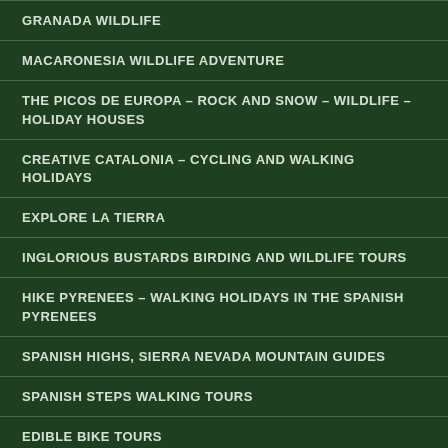GRANADA WILDLIFE
MACARONESIA WILDLIFE ADVENTURE
THE PICOS DE EUROPA – ROCK AND SNOW – WILDLIFE – HOLIDAY HOUSES
CREATIVE CATALONIA – CYCLING AND WALKING HOLIDAYS
EXPLORE LA TIERRA
INGLORIOUS BUSTARDS BIRDING AND WILDLIFE TOURS
HIKE PYRENEES – WALKING HOLIDAYS IN THE SPANISH PYRENEES
SPANISH HIGHS, SIERRA NEVADA MOUNTAIN GUIDES
SPANISH STEPS WALKING TOURS
EDIBLE BIKE TOURS
SUR WALKS – WALKING AND WILDLIFE FROM THE COSTA DEL SOL
WALK SPAIN